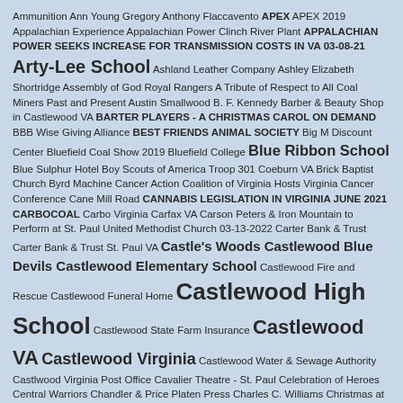Ammunition Ann Young Gregory Anthony Flaccavento APEX APEX 2019 Appalachian Experience Appalachian Power Clinch River Plant APPALACHIAN POWER SEEKS INCREASE FOR TRANSMISSION COSTS IN VA 03-08-21 Arty-Lee School Ashland Leather Company Ashley Elizabeth Shortridge Assembly of God Royal Rangers A Tribute of Respect to All Coal Miners Past and Present Austin Smallwood B. F. Kennedy Barber & Beauty Shop in Castlewood VA BARTER PLAYERS - A CHRISTMAS CAROL ON DEMAND BBB Wise Giving Alliance BEST FRIENDS ANIMAL SOCIETY Big M Discount Center Bluefield Coal Show 2019 Bluefield College Blue Ribbon School Blue Sulphur Hotel Boy Scouts of America Troop 301 Coeburn VA Brick Baptist Church Byrd Machine Cancer Action Coalition of Virginia Hosts Virginia Cancer Conference Cane Mill Road CANNABIS LEGISLATION IN VIRGINIA JUNE 2021 CARBOCOAL Carbo Virginia Carfax VA Carson Peters & Iron Mountain to Perform at St. Paul United Methodist Church 03-13-2022 Carter Bank & Trust Carter Bank & Trust St. Paul VA Castle's Woods Castlewood Blue Devils Castlewood Elementary School Castlewood Fire and Rescue Castlewood Funeral Home Castlewood High School Castlewood State Farm Insurance Castlewood VA Castlewood Virginia Castlewood Water & Sewage Authority Castlwood Virginia Post Office Cavalier Theatre - St. Paul Celebration of Heroes Central Warriors Chandler & Price Platen Press Charles C. Williams Christmas at Dante Virginia 1989 CHRISTMAS AT DANTE VIRGINIA1991 CHRISTMAS IN SOUTHWEST VIRGINIA 1970 Churches United As One